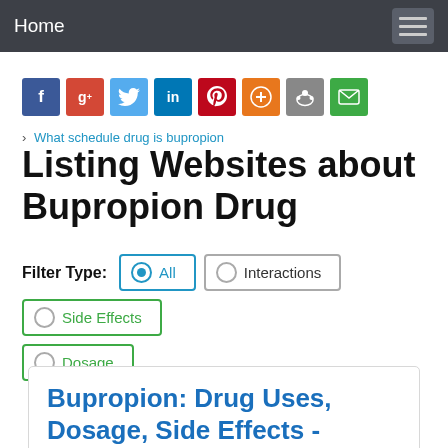Home
[Figure (screenshot): Social media share icons: Facebook, Google+, Twitter, LinkedIn, Pinterest, StumbleUpon, Reddit, Email]
› What schedule drug is bupropion
Listing Websites about Bupropion Drug
Filter Type: All  Interactions  Side Effects  Dosage
Bupropion: Drug Uses, Dosage, Side Effects -